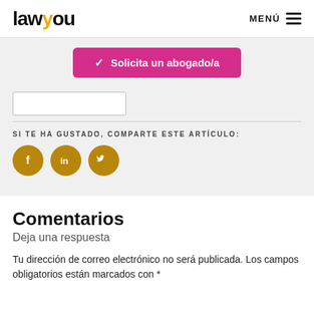lawyou — MENÚ
[Figure (screenshot): Pink button: Solicita un abogado/a with checkmark]
[Figure (infographic): Social share icons: Facebook, LinkedIn, Twitter (gold circles)]
SI TE HA GUSTADO, COMPARTE ESTE ARTÍCULO:
Comentarios
Deja una respuesta
Tu dirección de correo electrónico no será publicada. Los campos obligatorios están marcados con *